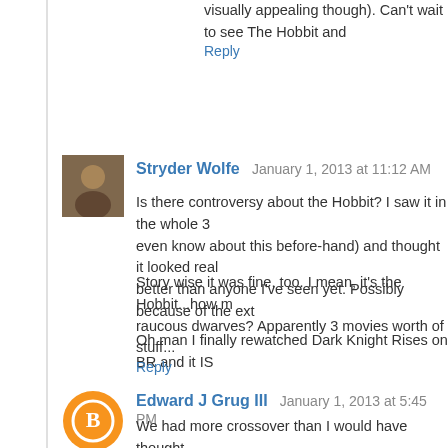visually appealing though). Can't wait to see The Hobbit and
Reply
Stryder Wolfe  January 1, 2013 at 11:12 AM
[Figure (photo): User avatar thumbnail for Stryder Wolfe]
Is there controversy about the Hobbit? I saw it in the whole 3 even know about this before-hand) and thought it looked real better than anyone I've seen yet. Possibly because of the ext
Story wise it was fine, too. I mean, it's the Hobbit...how m raucous dwarves? Apparently 3 movies worth of stuff...
Oh man I finally rewatched Dark Knight Rises on BR and it IS
Reply
Edward J Grug III  January 1, 2013 at 5:45 PM
[Figure (logo): Orange circle avatar with blogger B icon for Edward J Grug III]
We had more crossover than I would have thought.
I found Cabin the Woods to be a bit of a let down - Would li and without an awful audience, but I didn't dislike it.